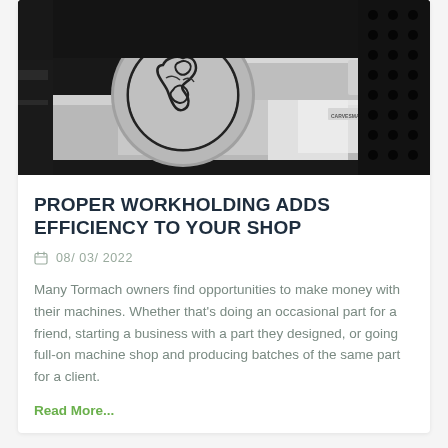[Figure (photo): Close-up photo of a CNC machine workholding fixture (CarveSmart brand) on a perforated metal table, holding a circular aluminum piece with an engraved design, shot in black and white]
PROPER WORKHOLDING ADDS EFFICIENCY TO YOUR SHOP
08/ 03/ 2022
Many Tormach owners find opportunities to make money with their machines. Whether that’s doing an occasional part for a friend, starting a business with a part they designed, or going full-on machine shop and producing batches of the same part for a client.
Read More...